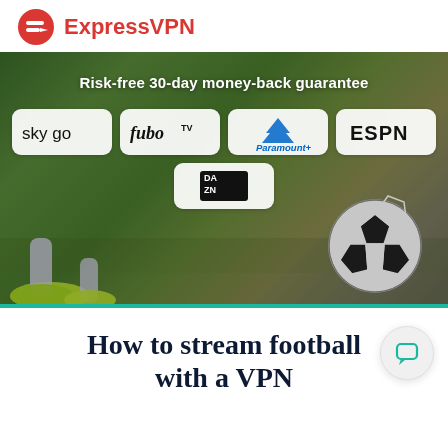[Figure (logo): ExpressVPN logo: red shield/arrow icon and red ExpressVPN wordmark on white background]
[Figure (photo): Hero banner showing soccer players' feet and a soccer ball on grass, with overlay text 'Risk-free 30-day money-back guarantee' and streaming service logos: sky go, fuboTV, Paramount+, ESPN, DAZN. Teal accent bar at bottom.]
How to stream football with a VPN